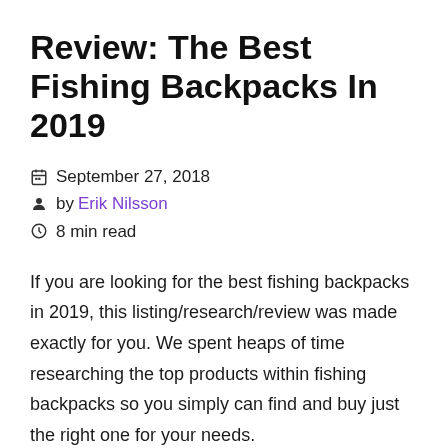Review: The Best Fishing Backpacks In 2019
September 27, 2018
by Erik Nilsson
8 min read
If you are looking for the best fishing backpacks in 2019, this listing/research/review was made exactly for you. We spent heaps of time researching the top products within fishing backpacks so you simply can find and buy just the right one for your needs.
To give you an overview, we thoroughly evaluated their main features product by product. After that,